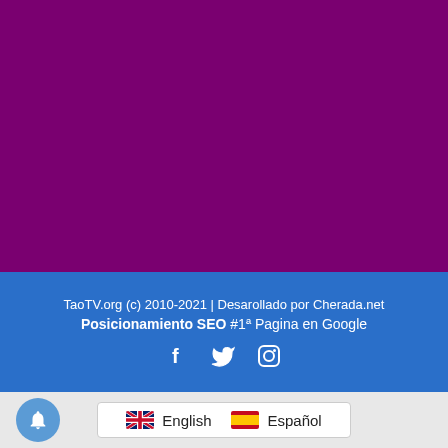[Figure (illustration): Large purple/magenta solid color background block occupying the upper portion of the page]
TaoTV.org (c) 2010-2021 | Desarollado por Cherada.net
Posicionamiento SEO #1ª Pagina en Google
[Figure (illustration): Social media icons: Facebook (f), Twitter (bird), Instagram (camera) in white on blue background]
English  Español
[Figure (illustration): Blue circular bell/notification button in bottom left corner]